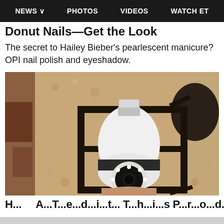NEWS   PHOTOS   VIDEOS   WATCH ET
Donut Nails—Get the Look
The secret to Hailey Bieber's pearlescent manicure? OPI nail polish and eyeshadow.
[Figure (photo): A white smart security camera bulb installed in a black outdoor lantern fixture mounted on a textured stone/stucco wall, being held by a hand at the bottom.]
H...A...T...e...d...i...t...T...h...i...s...P...r...o...d...u...c...t...